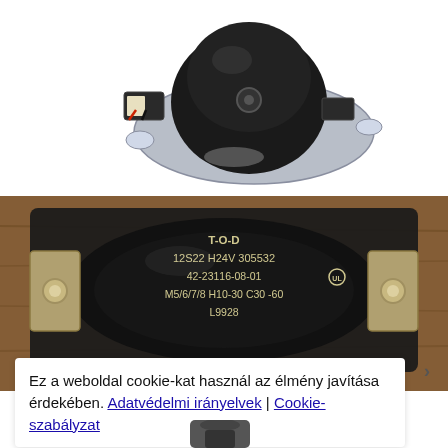[Figure (photo): Close-up product photo of a black thermal limit switch/thermostat component mounted on a silver metal oval bracket, shown on white background]
[Figure (photo): Close-up photo of the back/underside of a black thermal limit switch component showing label text: T-O-D, 12S22 H24V 305532, 42-23116-08-01 with UL mark, M5/6/7/8 H10-30 C30 -60, L9928, on a wooden surface background]
Ez a weboldal cookie-kat használ az élmény javítása érdekében. Adatvédelmi irányelvek | Cookie-szabályzat
[Figure (photo): Partial view of another similar thermal component, bottom of page, partially cropped]